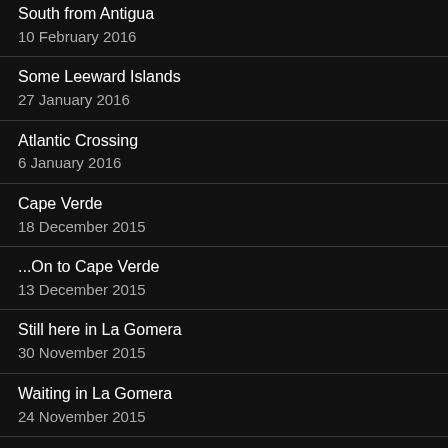South from Antigua
10 February 2016
Some Leeward Islands
27 January 2016
Atlantic Crossing
6 January 2016
Cape Verde
18 December 2015
...On to Cape Verde
13 December 2015
Still here in La Gomera
30 November 2015
Waiting in La Gomera
24 November 2015
Two more Canary Islands
13 November 2015
South to a Canary Island
6 November 2015